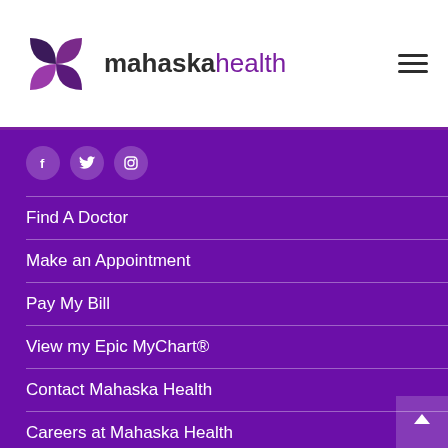mahaskahealth
[Figure (logo): Mahaska Health logo with four-petal flower SVG in purple and dark tones, beside text 'mahaskahealth']
Find A Doctor
Make an Appointment
Pay My Bill
View my Epic MyChart®
Contact Mahaska Health
Careers at Mahaska Health